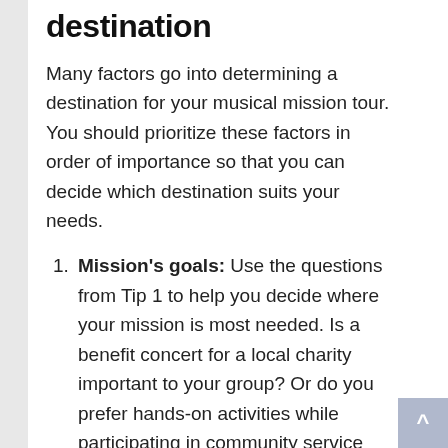destination
Many factors go into determining a destination for your musical mission tour. You should prioritize these factors in order of importance so that you can decide which destination suits your needs.
Mission's goals: Use the questions from Tip 1 to help you decide where your mission is most needed. Is a benefit concert for a local charity important to your group? Or do you prefer hands-on activities while participating in community service projects ?
Cost: How important is price to your group? If you are on a low budget, consider destinations like the United